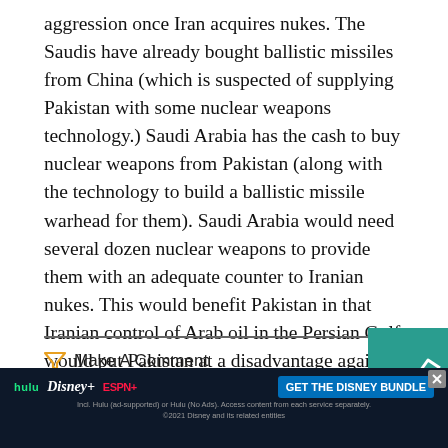aggression once Iran acquires nukes. The Saudis have already bought ballistic missiles from China (which is suspected of supplying Pakistan with some nuclear weapons technology.) Saudi Arabia has the cash to buy nuclear weapons from Pakistan (along with the technology to build a ballistic missile warhead for them). Saudi Arabia would need several dozen nuclear weapons to provide them with an adequate counter to Iranian nukes. This would benefit Pakistan in that Iranian control of Arab oil in the Persian Gulf would put Pakistan at a disadvantage against their Iranian neighbor.
Make A Comment
[Figure (other): Teal/green square with a line chart icon (white lines showing upward trend) and a circular close button with X]
[Figure (screenshot): Advertisement banner for Disney Bundle (Hulu, Disney+, ESPN+) with GET THE DISNEY BUNDLE button and small text: Incl. Hulu (ad-supported) or Hulu (No Ads). Access content from each service separately. ©2021 Disney and its related entities]